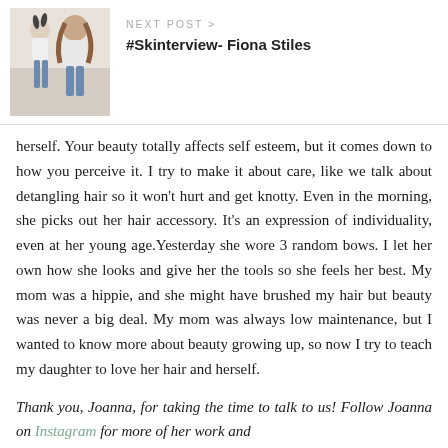[Figure (photo): Photo of a woman and child, used as thumbnail for next post link]
NEXT POST >
#Skinterview- Fiona Stiles
herself. Your beauty totally affects self esteem, but it comes down to how you perceive it. I try to make it about care, like we talk about detangling hair so it won't hurt and get knotty. Even in the morning, she picks out her hair accessory. It's an expression of individuality, even at her young age.Yesterday she wore 3 random bows. I let her own how she looks and give her the tools so she feels her best. My mom was a hippie, and she might have brushed my hair but beauty was never a big deal. My mom was always low maintenance, but I wanted to know more about beauty growing up, so now I try to teach my daughter to love her hair and herself.
Thank you, Joanna, for taking the time to talk to us! Follow Joanna on Instagram for more of her work and